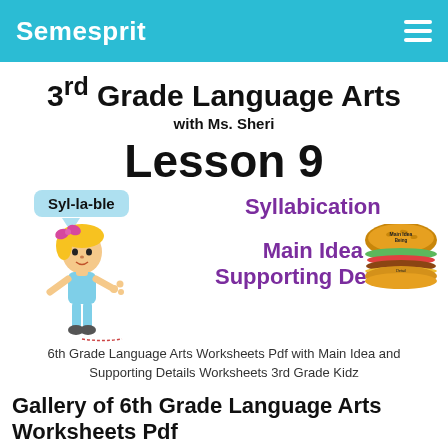Semesprit
3rd Grade Language Arts with Ms. Sheri
Lesson 9
[Figure (illustration): Illustration with cartoon girl saying 'Syl-la-ble' in a speech bubble, purple text 'Syllabication' and 'Main Idea Supporting Details', and a burger icon labeled 'Main Idea Being Detail']
6th Grade Language Arts Worksheets Pdf with Main Idea and Supporting Details Worksheets 3rd Grade Kidz
Gallery of 6th Grade Language Arts Worksheets Pdf